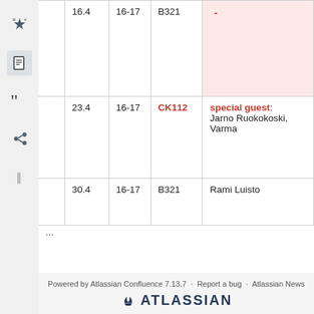|  | Date | Time | Room | Speaker/Info |
| --- | --- | --- | --- | --- |
|  | 16.4 | 16-17 | B321 | - |
|  | 23.4 | 16-17 | CK112 | special guest: Jarno Ruokokoski, Varma |
|  | 30.4 | 16-17 | B321 | Rami Luisto |
...
Powered by Atlassian Confluence 7.13.7 · Report a bug · Atlassian News
ATLASSIAN